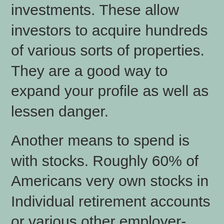investments. These allow investors to acquire hundreds of various sorts of properties. They are a good way to expand your profile as well as lessen danger.
Another means to spend is with stocks. Roughly 60% of Americans very own stocks in Individual retirement accounts or various other employer-sponsored retirement plans, while the other 30% very own safeties in taxable accounts. Amongst these, 55% are in the stock exchange. Stocks stand for a share of possession in a company. These supplies are offered by the business to the shareholder and